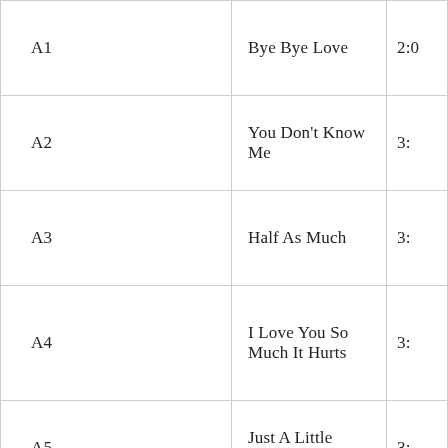| Track | Title | Time |
| --- | --- | --- |
| A1 | Bye Bye Love | 2:0 |
| A2 | You Don't Know Me | 3: |
| A3 | Half As Much | 3: |
| A4 | I Love You So Much It Hurts | 3: |
| A5 | Just A Little Lovin' | 3: |
| A6 | Born To Lose | 3: |
| B1 | Worried Mind | 2: |
| B2 | ... |  |